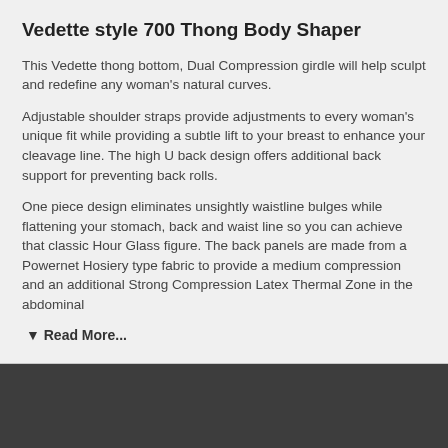Vedette style 700 Thong Body Shaper
This Vedette thong bottom, Dual Compression girdle will help sculpt and redefine any woman's natural curves.
Adjustable shoulder straps provide adjustments to every woman's unique fit while providing a subtle lift to your breast to enhance your cleavage line. The high U back design offers additional back support for preventing back rolls.
One piece design eliminates unsightly waistline bulges while flattening your stomach, back and waist line so you can achieve that classic Hour Glass figure. The back panels are made from a Powernet Hosiery type fabric to provide a medium compression and an additional Strong Compression Latex Thermal Zone in the abdominal
▼ Read More...
Home